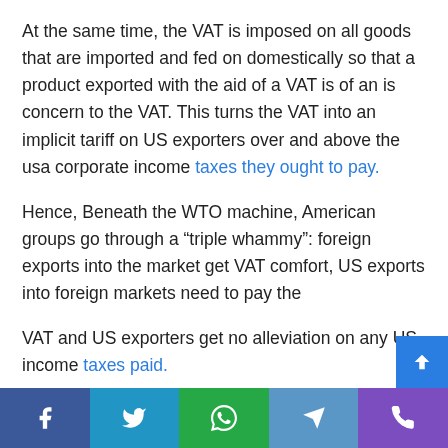At the same time, the VAT is imposed on all goods that are imported and fed on domestically so that a product exported with the aid of a VAT is of an is concern to the VAT. This turns the VAT into an implicit tariff on US exporters over and above the usa corporate income taxes they ought to pay.
Hence, Beneath the WTO machine, American groups go through a “triple whammy”: foreign exports into the market get VAT comfort, US exports into foreign markets need to pay the
VAT and US exporters get no alleviation on any US income taxes paid.
[Figure (other): Social sharing bar with Facebook, Twitter, WhatsApp, Telegram, and Phone icons]